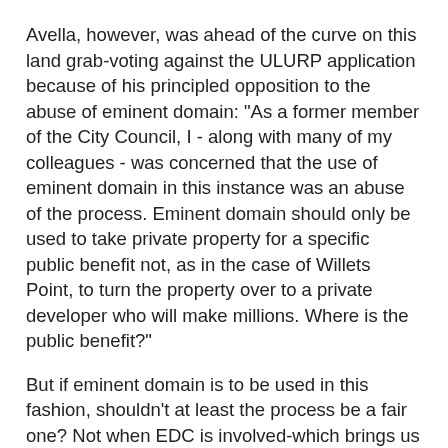Avella, however, was ahead of the curve on this land grab-voting against the ULURP application because of his principled opposition to the abuse of eminent domain: "As a former member of the City Council, I - along with many of my colleagues - was concerned that the use of eminent domain in this instance was an abuse of the process. Eminent domain should only be used to take private property for a specific public benefit not, as in the case of Willets Point, to turn the property over to a private developer who will make millions. Where is the public benefit?"
But if eminent domain is to be used in this fashion, shouldn't at least the process be a fair one? Not when EDC is involved-which brings us to the rampant dishonesty of the agency over the crucial traffic mitigating ramps: "Following the city's approval, Willets Point United, a group organized by area business owners, hired a traffic consultant, Brian Ketcham, to review the city's environmental review of the impact this massive project would create. It was discovered that the city, in order to mitigate very serious traffic congestion issues, had proposed the creation of several